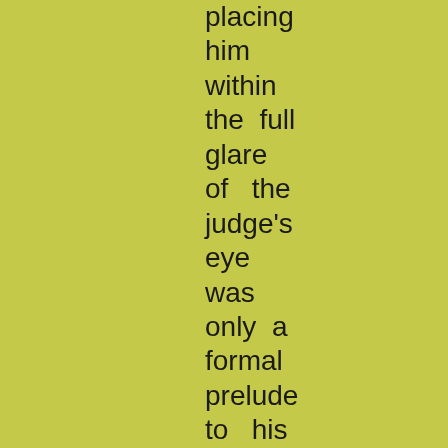placing him within the full glare of the judge's eye was only a formal prelude to his being immediately ordered away for instant